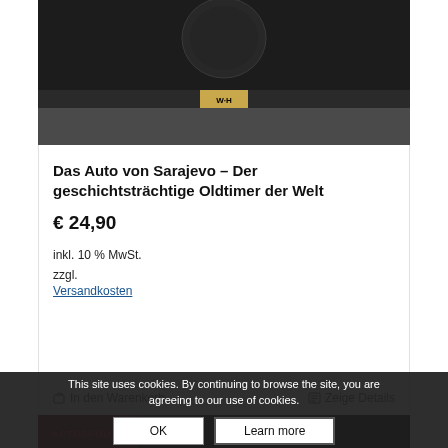[Figure (photo): Dark-colored book or box product with a WH gold badge label, shown against a light background. Top portion of product visible.]
Das Auto von Sarajevo – Der geschichtsträchtige Oldtimer der Welt
€ 24,90
inkl. 10 % MwSt.
zzgl.
Versandkosten
In den Warenkorb
Zeige Details
[Figure (photo): Bottom portion of a second product image showing dark background with red text partially visible reading 'ACTOSPOU' or similar.]
This site uses cookies. By continuing to browse the site, you are agreeing to our use of cookies.